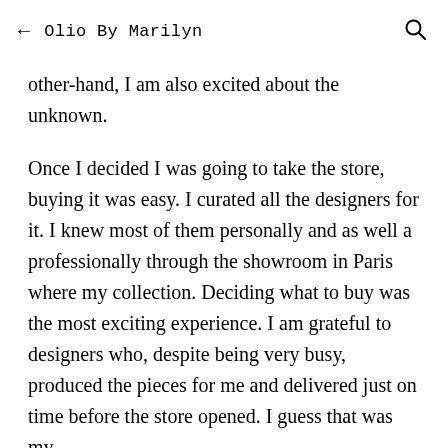← Olio By Marilyn 🔍
other-hand, I am also excited about the unknown.
Once I decided I was going to take the store, buying it was easy. I curated all the designers for it. I knew most of them personally and as well a professionally through the showroom in Paris where my collection. Deciding what to buy was the most exciting experience. I am grateful to designers who, despite being very busy, produced the pieces for me and delivered just on time before the store opened. I guess that was my